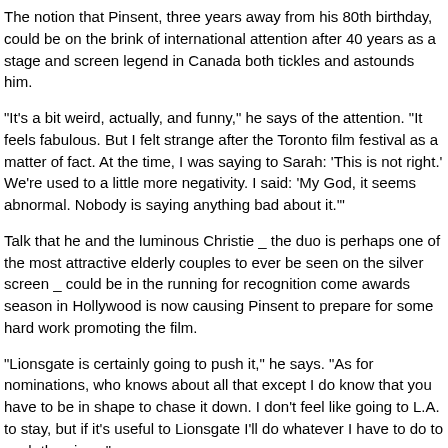The notion that Pinsent, three years away from his 80th birthday, could be on the brink of international attention after 40 years as a stage and screen legend in Canada both tickles and astounds him.
"It's a bit weird, actually, and funny," he says of the attention. "It feels fabulous. But I felt strange after the Toronto film festival as a matter of fact. At the time, I was saying to Sarah: 'This is not right.' We're used to a little more negativity. I said: 'My God, it seems abnormal. Nobody is saying anything bad about it.'"
Talk that he and the luminous Christie _ the duo is perhaps one of the most attractive elderly couples to ever be seen on the silver screen _ could be in the running for recognition come awards season in Hollywood is now causing Pinsent to prepare for some hard work promoting the film.
"Lionsgate is certainly going to push it," he says. "As for nominations, who knows about all that except I do know that you have to be in shape to chase it down. I don't feel like going to L.A. to stay, but if it's useful to Lionsgate I'll do whatever I have to do to push the piece."
Would he go to the Oscars?
"Oh sure!" he says as his blue eyes light up. "Even if Julie just wanted